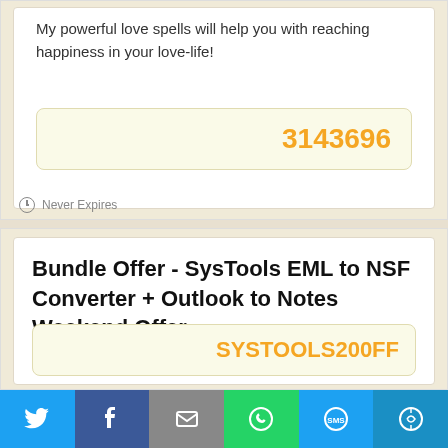My powerful love spells will help you with reaching happiness in your love-life!
3143696
Never Expires
Bundle Offer - SysTools EML to NSF Converter + Outlook to Notes Weekend Offer
SYSTOOLS200FF